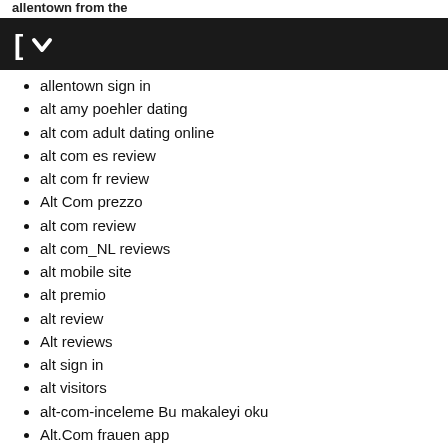allentown from the
alt...
[Figure (logo): Black navigation bar with white bracket-like icon and down arrow]
allentown sign in
alt amy poehler dating
alt com adult dating online
alt com es review
alt com fr review
Alt Com prezzo
alt com review
alt com_NL reviews
alt mobile site
alt premio
alt review
Alt reviews
alt sign in
alt visitors
alt-com-inceleme Bu makaleyi oku
Alt.Com frauen app
Alt.com reviews
Alt.com useful content
altcom cs reviews
altcom de review
altcom pl review
altcom reviews
alterslucke-dating-sites visitors